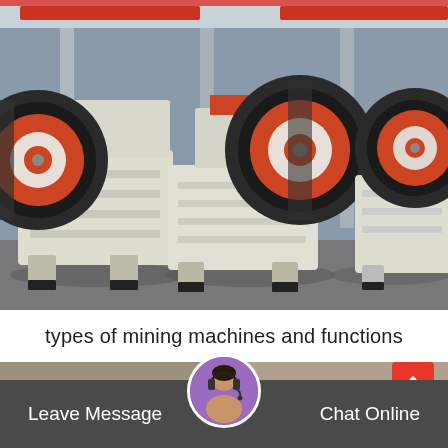[Figure (photo): Industrial jaw crushers lined up in a factory floor. The machines are large, cream/white colored heavy equipment with prominent red and black flywheel pulleys. Three units visible side by side in an industrial warehouse setting with red overhead crane rails.]
types of mining machines and functions
[Figure (other): Red scroll-to-top button with a white upward chevron arrow]
[Figure (other): Customer service avatar — woman wearing a telephone headset, circular photo in purple-bordered circle, centered in bottom chat bar]
Leave Message
Chat Online